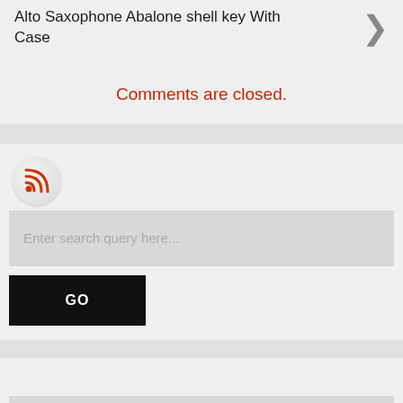Alto Saxophone Abalone shell key With Case
Comments are closed.
[Figure (other): RSS feed icon - orange wifi-like signal icon on circular grey button]
Enter search query here...
GO
Enter search query here...